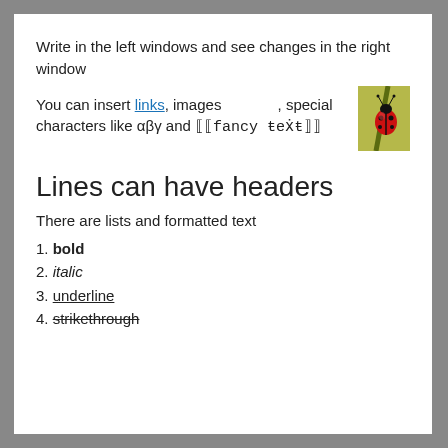Write in the left windows and see changes in the right window
You can insert links, images [ladybug image], special characters like αβγ and ⟦fancy ƚeҳƚ⟧
Lines can have headers
There are lists and formatted text
1. bold
2. italic
3. underline
4. strikethrough